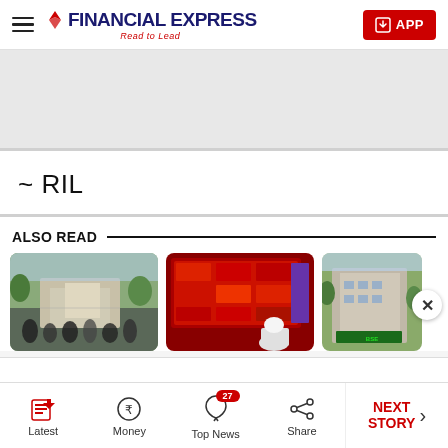Financial Express — Read to Lead
[Figure (other): Gray advertisement banner placeholder]
~ RIL
ALSO READ
[Figure (photo): Stock exchange building with people silhouetted in foreground]
[Figure (photo): Red electronic stock ticker display board with person in foreground]
[Figure (photo): BSE building exterior with green signage]
Latest  Money  Top News (27)  Share  NEXT STORY